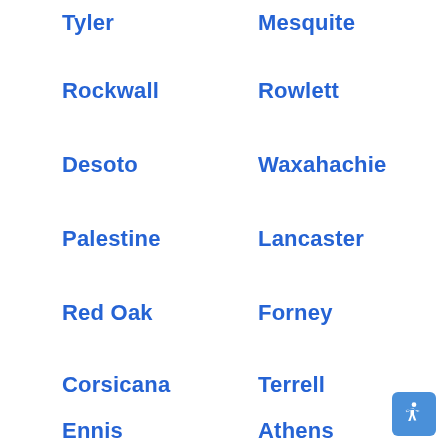Tyler
Mesquite
Rockwall
Rowlett
Desoto
Waxahachie
Palestine
Lancaster
Red Oak
Forney
Corsicana
Terrell
Ennis
Athens